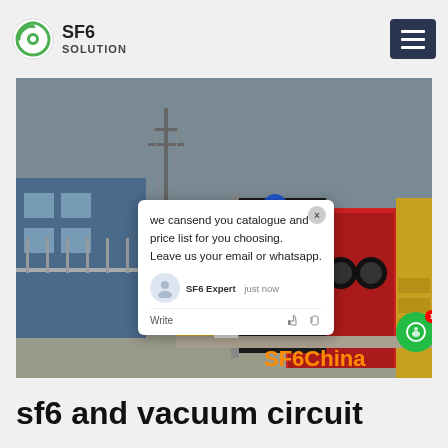SF6 SOLUTION
[Figure (photo): A worker in blue hard hat and green coveralls standing on a yellow industrial truck/vehicle, working with SF6 gas equipment. Industrial facility with power lines and structures in background. Chat popup overlay showing message: 'we can send you catalogue and price list for you choosing. Leave us your email or whatsapp.' SF6 Expert just now. SF6China watermark in orange at bottom right.]
sf6 and vacuum circuit